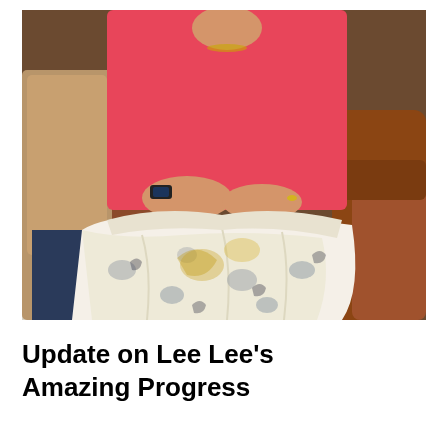[Figure (photo): A person wearing a bright pink long-sleeve top sits in a chair, covered from the waist down with a white fleece blanket featuring horse/animal patterns in gray and golden yellow. A brown leather armchair is visible to the right. Another person in a tan jacket sits to the left. The setting appears to be a home interior.]
Update on Lee Lee's Amazing Progress